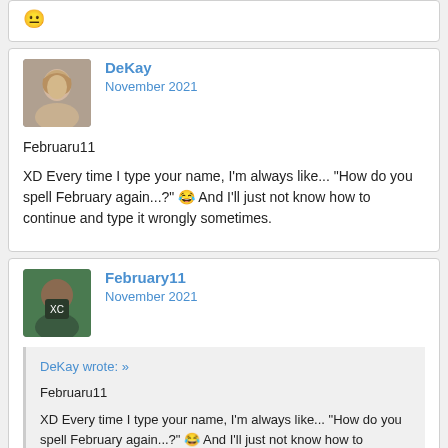😐
DeKay
November 2021
Februaru11

XD Every time I type your name, I'm always like... "How do you spell February again...?" 😂 And I'll just not know how to continue and type it wrongly sometimes.
February11
November 2021
DeKay wrote: »
Februaru11

XD Every time I type your name, I'm always like... "How do you spell February again...?" 😂 And I'll just not know how to continue and type it wrongly sometimes.